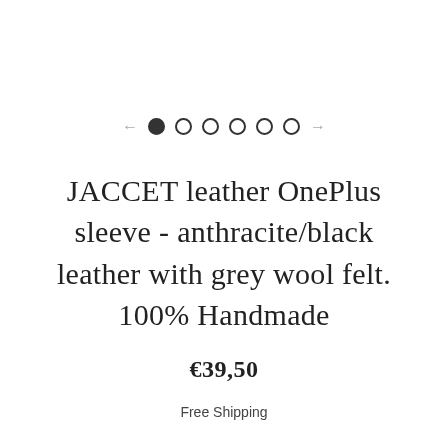[Figure (other): Image carousel navigation: left arrow, one filled circle dot, four empty circle dots, right arrow]
JACCET leather OnePlus sleeve - anthracite/black leather with grey wool felt. 100% Handmade
€39,50
Free Shipping